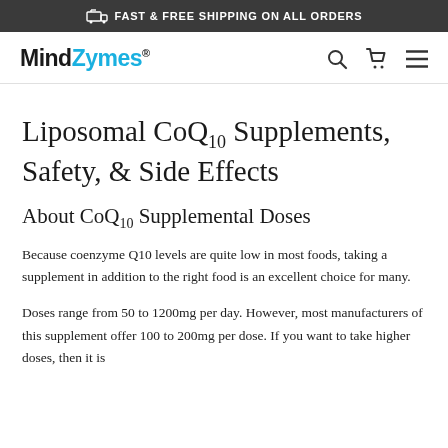FAST & FREE SHIPPING ON ALL ORDERS
MindZymes®
Liposomal CoQ10 Supplements, Safety, & Side Effects
About CoQ10 Supplemental Doses
Because coenzyme Q10 levels are quite low in most foods, taking a supplement in addition to the right food is an excellent choice for many.
Doses range from 50 to 1200mg per day. However, most manufacturers of this supplement offer 100 to 200mg per dose. If you want to take higher doses, then it is